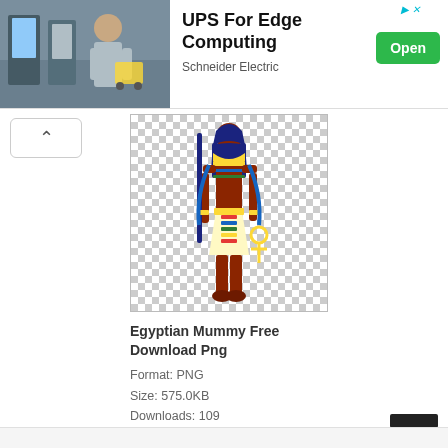[Figure (screenshot): Advertisement banner: photo of a woman with a shopping cart in a store on the left, text 'UPS For Edge Computing' and 'Schneider Electric' in center, green 'Open' button on right]
[Figure (illustration): Egyptian deity/mummy figure illustration on transparent (checkered) background - figure dressed in ancient Egyptian garb holding staff and ankh]
Egyptian Mummy Free Download Png
Format: PNG
Size: 575.0KB
Downloads: 109
[Figure (illustration): Partial second Egyptian figure illustration on transparent (checkered) background, partially visible at bottom of page]